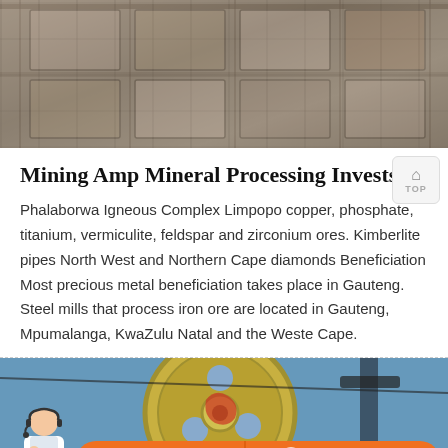[Figure (photo): Overhead view of stone slabs or mining/quarry materials on shelves or racks, industrial setting]
Mining Amp Mineral Processing Investsa
Phalaborwa Igneous Complex Limpopo copper, phosphate, titanium, vermiculite, feldspar and zirconium ores. Kimberlite pipes North West and Northern Cape diamonds Beneficiation Most precious metal beneficiation takes place in Gauteng. Steel mills that process iron ore are located in Gauteng, Mpumalanga, KwaZulu Natal and the Weste Cape.
[Figure (photo): Industrial mining equipment, large circular crusher or mill component, machinery in outdoor setting]